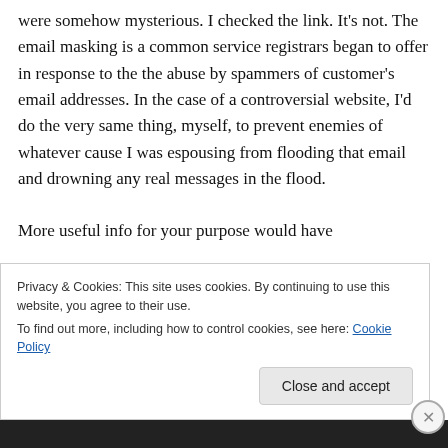were somehow mysterious. I checked the link. It's not. The email masking is a common service registrars began to offer in response to the the abuse by spammers of customer's email addresses. In the case of a controversial website, I'd do the very same thing, myself, to prevent enemies of whatever cause I was espousing from flooding that email and drowning any real messages in the flood.
More useful info for your purpose would have
Privacy & Cookies: This site uses cookies. By continuing to use this website, you agree to their use.
To find out more, including how to control cookies, see here: Cookie Policy